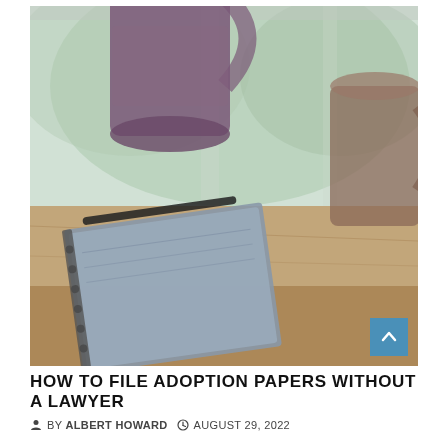[Figure (photo): A blurred background photo showing a wooden table with a notebook/clipboard and a pen on it, two ceramic mugs visible — one purple on the left and one on the far right, with a soft greenish window light in the background. A blue square scroll-to-top button is visible in the lower right corner of the image.]
HOW TO FILE ADOPTION PAPERS WITHOUT A LAWYER
BY ALBERT HOWARD  AUGUST 29, 2022